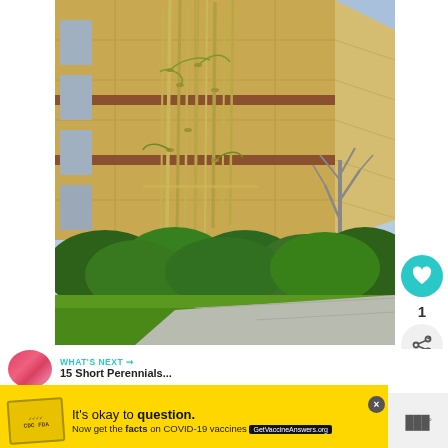[Figure (photo): Photograph of bamboo plants growing against a modern stone/concrete building facade, with lush green hedges and lawn in the foreground, pathway, and a bare tree to the right]
WHAT'S NEXT → 15 Short Perennials...
53 Bamboo Garden Ideas That
It's okay to question. Now get the facts on COVID-19 vaccines GetVaccineAnswers.org